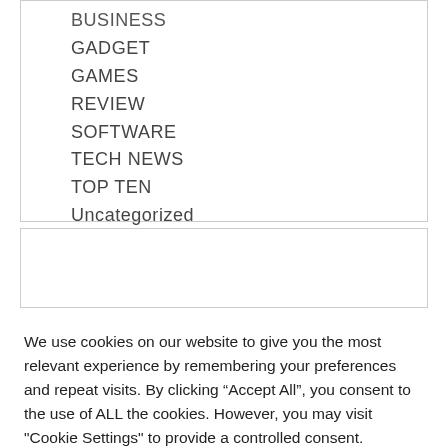BUSINESS
GADGET
GAMES
REVIEW
SOFTWARE
TECH NEWS
TOP TEN
Uncategorized
We use cookies on our website to give you the most relevant experience by remembering your preferences and repeat visits. By clicking “Accept All”, you consent to the use of ALL the cookies. However, you may visit "Cookie Settings" to provide a controlled consent.